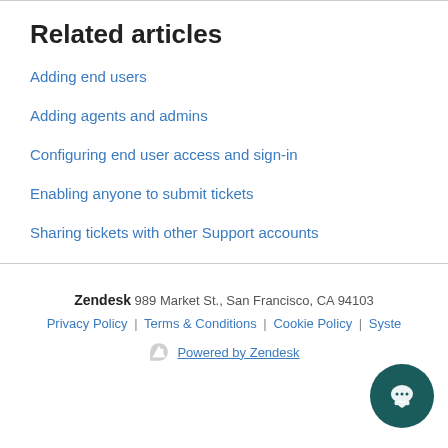Related articles
Adding end users
Adding agents and admins
Configuring end user access and sign-in
Enabling anyone to submit tickets
Sharing tickets with other Support accounts
Zendesk 989 Market St., San Francisco, CA 94103  Privacy Policy | Terms & Conditions | Cookie Policy | Syste  Powered by Zendesk